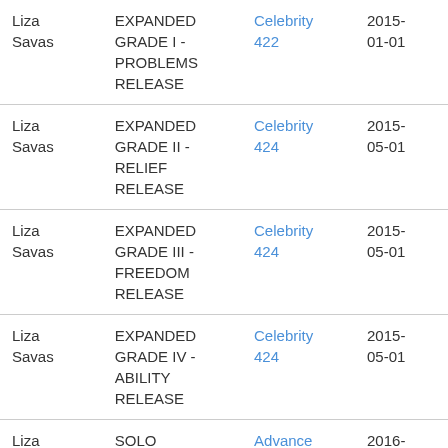| Name | Course | Publication | Date |
| --- | --- | --- | --- |
| Liza Savas | EXPANDED GRADE I - PROBLEMS RELEASE | Celebrity 422 | 2015-01-01 |
| Liza Savas | EXPANDED GRADE II - RELIEF RELEASE | Celebrity 424 | 2015-05-01 |
| Liza Savas | EXPANDED GRADE III - FREEDOM RELEASE | Celebrity 424 | 2015-05-01 |
| Liza Savas | EXPANDED GRADE IV - ABILITY RELEASE | Celebrity 424 | 2015-05-01 |
| Liza Savas | SOLO AUDITOR® COURSE PART I | Advance 239 | 2016-05-01 |
| Liza Savas | OT PREPARATIONS | Advance 239 | 2016-05-01 |
| Liza Savas | OT ELIGIBILITY | Advance 48 3 | 2016-08-01 |
| Liza Savas | SOLO AUDITOR COURSE PART II | Advance 48 4 | 2016-10-01 |
| Liza | NEW OT I | Advance | 2017- |